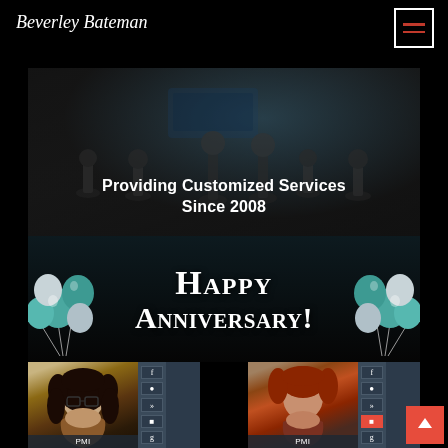Beverley Bateman
Providing Customized Services Since 2008
Happy Anniversary!
[Figure (photo): Two profile cards with photos of women and social media icon buttons]
[Figure (illustration): Decorative teal and white balloons on left and right sides of the Anniversary banner]
[Figure (screenshot): Hamburger menu button with red lines in top right header corner]